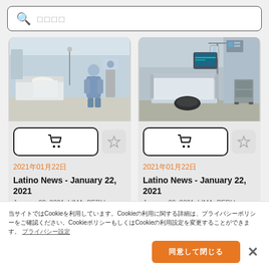□□□□ (search bar placeholder)
[Figure (photo): Hospital ICU scene with medical staff in blue PPE attending to patients in beds]
[Figure (photo): Hospital ICU scene with medical equipment and empty bed]
2021年01月22日
Latino News - January 22, 2021
January 22, 2021, LIMA, PERU:
2021年01月22日
Latino News - January 22, 2021
January 22, 2021, LIMA, PERU:
当サイトではCookieを利用しています。Cookieの利用に関する詳細は、プライバシーポリシーをご確認ください。CookieポリシーもしくはCookieの利用設定を変更することができます。 プライバシー設定
同意して閉じる